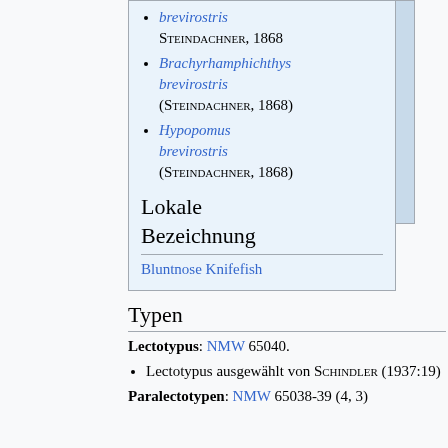brevirostris STEINDACHNER, 1868
Brachyrhamphichthys brevirostris (STEINDACHNER, 1868)
Hypopomus brevirostris (STEINDACHNER, 1868)
Lokale Bezeichnung
Bluntnose Knifefish
Typen
Lectotypus: NMW 65040.
Lectotypus ausgewählt von SCHINDLER (1937:19)
Paralectotypen: NMW 65038-39 (4, 3)